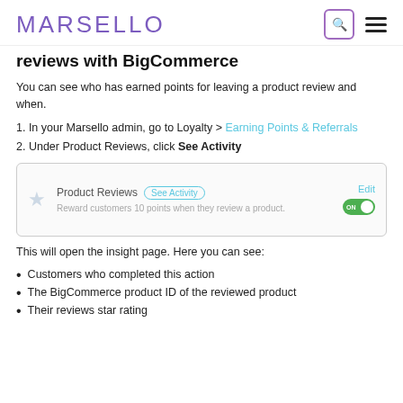MARSELLO
reviews with BigCommerce
You can see who has earned points for leaving a product review and when.
1. In your Marsello admin, go to Loyalty > Earning Points & Referrals
2. Under Product Reviews, click See Activity
[Figure (screenshot): Screenshot of Marsello admin UI showing Product Reviews row with 'See Activity' button circled, an 'Edit' link, a star icon, helper text 'Reward customers 10 points when they review a product.' and a green ON toggle.]
This will open the insight page. Here you can see:
Customers who completed this action
The BigCommerce product ID of the reviewed product
Their reviews star rating